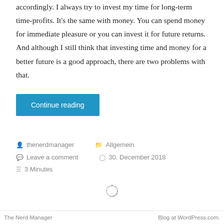accordingly. I always try to invest my time for long-term time-profits. It's the same with money. You can spend money for immediate pleasure or you can invest it for future returns. And although I still think that investing time and money for a better future is a good approach, there are two problems with that.
Continue reading
thenerdmanager   Allgemein   Leave a comment   30. December 2018   3 Minutes
[Figure (other): Loading spinner icon]
The Nerd Manager    Blog at WordPress.com.